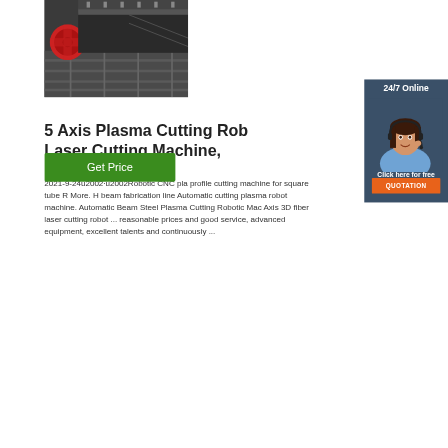[Figure (photo): Industrial plasma/laser cutting machine on a track, showing red spool and metal rail system from above]
[Figure (photo): 24/7 Online customer service chat widget with smiling female agent wearing headset, dark blue background, orange QUOTATION button]
5 Axis Plasma Cutting Rob Laser Cutting Machine,
2021-9-24u2002·u2002Robotic CNC pla profile cutting machine for square tube R More. H beam fabrication line Automatic cutting plasma robot machine. Automatic Beam Steel Plasma Cutting Robotic Mac Axis 3D fiber laser cutting robot ... reasonable prices and good service, advanced equipment, excellent talents and continuously ...
Get Price